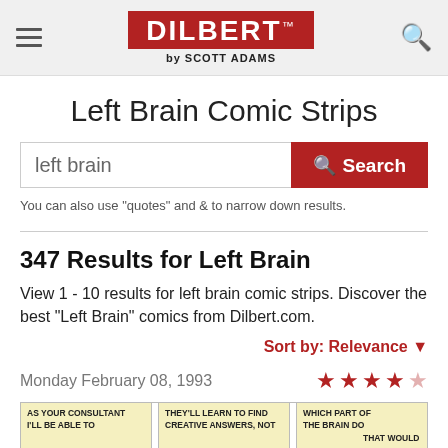DILBERT by SCOTT ADAMS
Left Brain Comic Strips
left brain [Search]
You can also use "quotes" and & to narrow down results.
347 Results for Left Brain
View 1 - 10 results for left brain comic strips. Discover the best "Left Brain" comics from Dilbert.com.
Sort by: Relevance
Monday February 08, 1993
[Figure (illustration): Three comic strip panels from Dilbert showing partial text: 'AS YOUR CONSULTANT I'LL BE ABLE TO', 'THEY'LL LEARN TO FIND CREATIVE ANSWERS, NOT', 'WHICH PART OF THE BRAIN DO THAT WOULD']